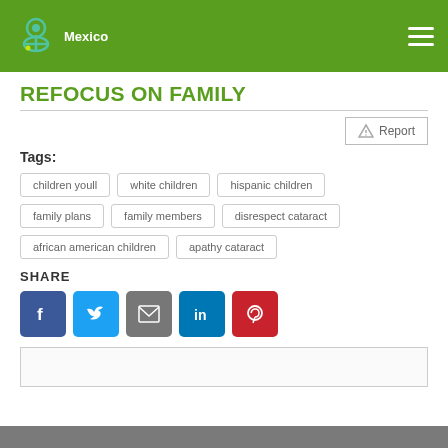Mexico
REFOCUS ON FAMILY
Report
Tags:
children youll
white children
hispanic children
family plans
family members
disrespect cataract
african american children
apathy cataract
SHARE
[Figure (infographic): Social share buttons: Facebook, Twitter, Email, LinkedIn, Pinterest]